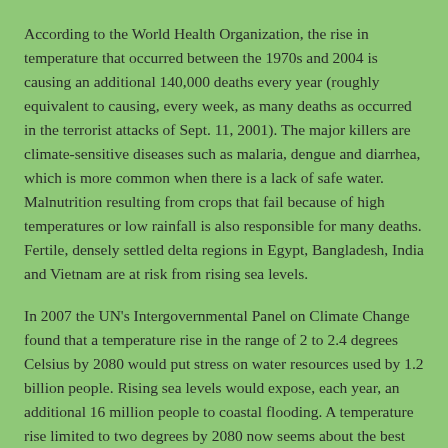According to the World Health Organization, the rise in temperature that occurred between the 1970s and 2004 is causing an additional 140,000 deaths every year (roughly equivalent to causing, every week, as many deaths as occurred in the terrorist attacks of Sept. 11, 2001). The major killers are climate-sensitive diseases such as malaria, dengue and diarrhea, which is more common when there is a lack of safe water. Malnutrition resulting from crops that fail because of high temperatures or low rainfall is also responsible for many deaths. Fertile, densely settled delta regions in Egypt, Bangladesh, India and Vietnam are at risk from rising sea levels.
In 2007 the UN's Intergovernmental Panel on Climate Change found that a temperature rise in the range of 2 to 2.4 degrees Celsius by 2080 would put stress on water resources used by 1.2 billion people. Rising sea levels would expose, each year, an additional 16 million people to coastal flooding. A temperature rise limited to two degrees by 2080 now seems about the best we can hope for, and recently there have been alarming indications that sea level rises could be much greater than the IPCC anticipated.
Perhaps a technological miracle is just around the corner, one that